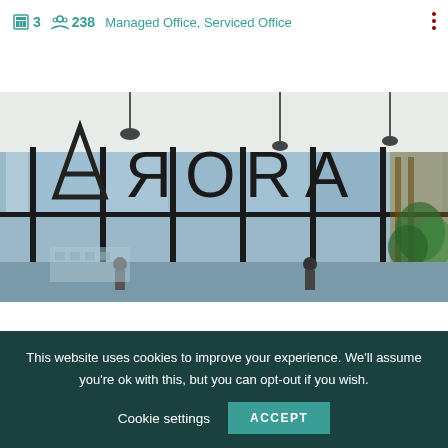3  238  Managed Office, Serviced Office
[Figure (photo): Exterior glass facade of an office building with large glass panels showing a reflected/reversed logo, pendant lights hanging from ceiling, and greenery visible on the right side]
This website uses cookies to improve your experience. We'll assume you're ok with this, but you can opt-out if you wish.
Cookie settings  ACCEPT